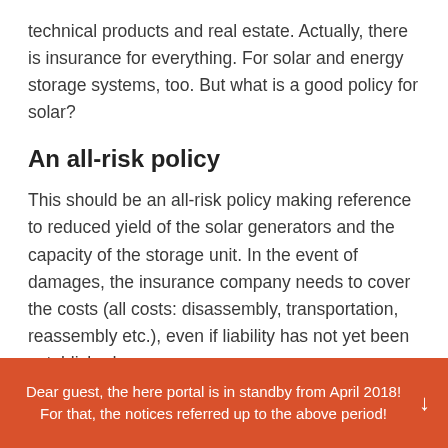technical products and real estate. Actually, there is insurance for everything. For solar and energy storage systems, too. But what is a good policy for solar?
An all-risk policy
This should be an all-risk policy making reference to reduced yield of the solar generators and the capacity of the storage unit. In the event of damages, the insurance company needs to cover the costs (all costs: disassembly, transportation, reassembly etc.), even if liability has not yet been established.
A test call to their hotline
Dear guest, the here portal is in standby from April 2018! For that, the notices referred up to the above period!